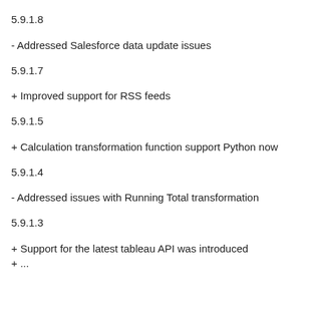5.9.1.8
- Addressed Salesforce data update issues
5.9.1.7
+ Improved support for RSS feeds
5.9.1.5
+ Calculation transformation function support Python now
5.9.1.4
- Addressed issues with Running Total transformation
5.9.1.3
+ Support for the latest tableau API was introduced
+ ...